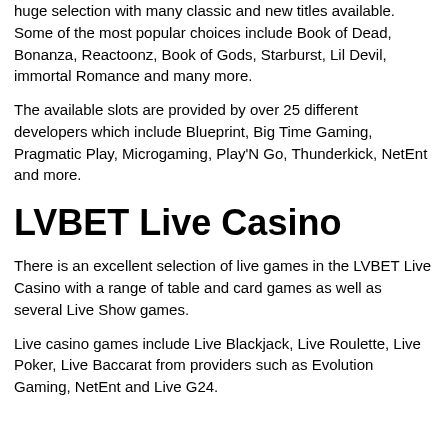huge selection with many classic and new titles available. Some of the most popular choices include Book of Dead, Bonanza, Reactoonz, Book of Gods, Starburst, Lil Devil, immortal Romance and many more.
The available slots are provided by over 25 different developers which include Blueprint, Big Time Gaming, Pragmatic Play, Microgaming, Play'N Go, Thunderkick, NetEnt and more.
LVBET Live Casino
There is an excellent selection of live games in the LVBET Live Casino with a range of table and card games as well as several Live Show games.
Live casino games include Live Blackjack, Live Roulette, Live Poker, Live Baccarat from providers such as Evolution Gaming, NetEnt and Live G24.